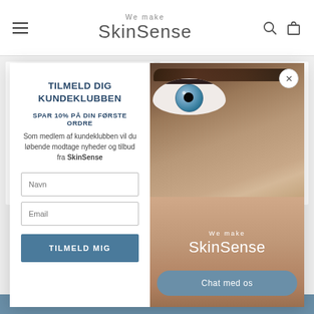We make SkinSense
[Figure (screenshot): SkinSense e-commerce website navigation header with hamburger menu, brand logo 'We make SkinSense', search and cart icons]
[Figure (screenshot): Background product tiles - two white product card placeholders on grey background]
[Figure (screenshot): Modal popup: left side - subscription form with title 'TILMELD DIG KUNDEKLUBBEN', '10% discount' offer, Navn and Email inputs, 'TILMELD MIG' button. Right side - close-up photo of person's eye with SkinSense branding and 'Chat med os' button]
TILMELD DIG KUNDEKLUBBEN
SPAR 10% PÅ DIN FØRSTE ORDRE
Som medlem af kundeklubben vil du løbende modtage nyheder og tilbud fra SkinSense
Chat med os